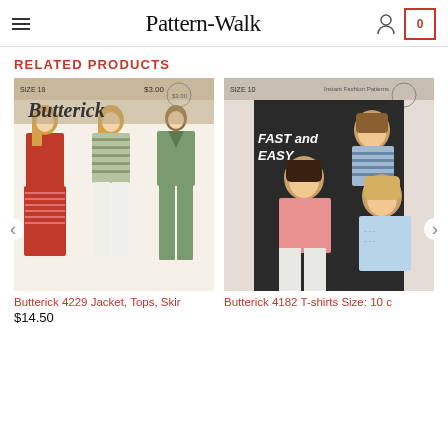Pattern-Walk
RELATED PRODUCTS
[Figure (photo): Butterick 4229 sewing pattern cover showing three women in jacket, tops, and skirt/pants outfits]
Butterick 4229 Jacket, Tops, Skir
$14.50
[Figure (photo): Butterick 4182 T-shirts sewing pattern cover showing three women/girls in casual t-shirts, labeled Fast and Easy, Size 10]
Butterick 4182 T-shirts Size: 10 c